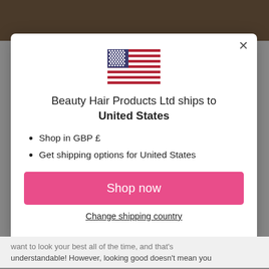[Figure (illustration): US flag icon centered in modal dialog]
Beauty Hair Products Ltd ships to United States
Shop in GBP £
Get shipping options for United States
Shop now
Change shipping country
want to look your best all of the time, and that's understandable! However, looking good doesn't mean you